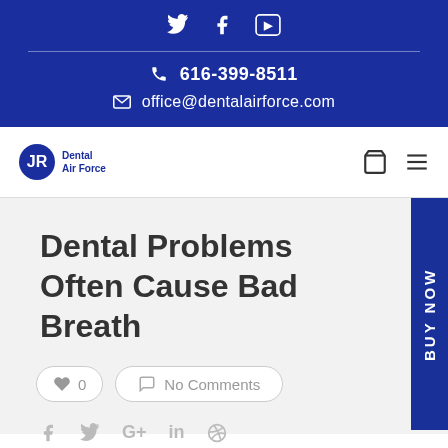Social icons: Twitter, Facebook, YouTube | 616-399-8511 | office@dentalairforce.com
[Figure (logo): Dental Air Force logo with circular emblem and text]
Dental Problems Often Cause Bad Breath
♥ 0   No Comments
Share icons: Facebook, Twitter, Google+, LinkedIn, Pinterest